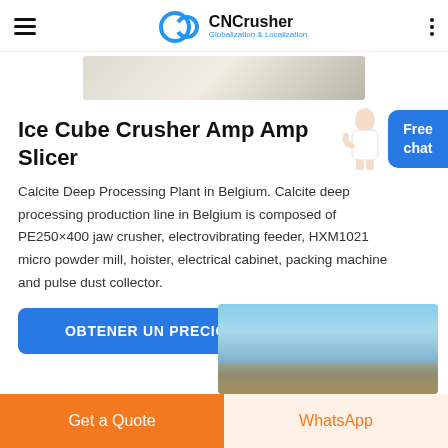CNCrusher Globalization & Localization
[Figure (photo): Partial top image of a processing plant or equipment surface]
Ice Cube Crusher Amp Amp Slicer
Calcite Deep Processing Plant in Belgium. Calcite deep processing production line in Belgium is composed of PE250×400 jaw crusher, electrovibrating feeder, HXM1021 micro powder mill, hoister, electrical cabinet, packing machine and pulse dust collector.
[Figure (illustration): Female customer service person with headset standing next to Free chat badge]
OBTENER UN PRECIO
[Figure (photo): Outdoor photo of a quarry or mining plant with blue sky]
Get a Quote
WhatsApp